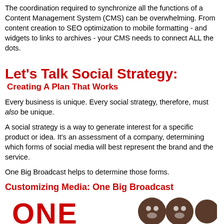The coordination required to synchronize all the functions of a Content Management System (CMS) can be overwhelming. From content creation to SEO optimization to mobile formatting - and widgets to links to archives - your CMS needs to connect ALL the dots.
Let's Talk Social Strategy:
Creating A Plan That Works
Every business is unique. Every social strategy, therefore, must also be unique.
A social strategy is a way to generate interest for a specific product or idea. It's an assessment of a company, determining which forms of social media will best represent the brand and the service.
One Big Broadcast helps to determine those forms.
Customizing Media: One Big Broadcast
[Figure (logo): ONE Big Broadcast logo text in red with circular icons]